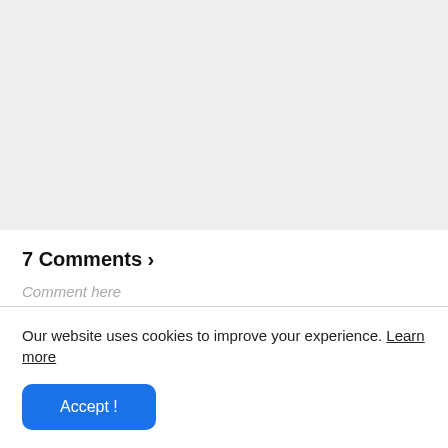[Figure (other): Gray placeholder area at top of page]
7 Comments ›
Comment here
Our website uses cookies to improve your experience. Learn more
Accept !